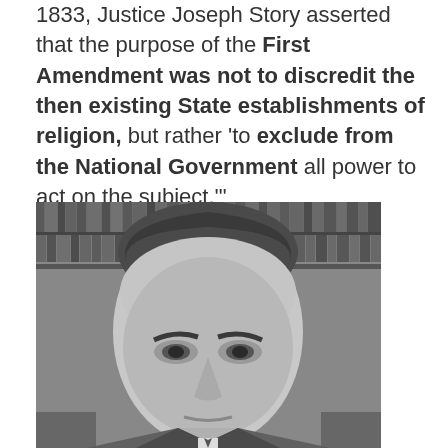1833, Justice Joseph Story asserted that the purpose of the First Amendment was not to discredit the then existing State establishments of religion, but rather 'to exclude from the National Government all power to act on the subject.'"
[Figure (photo): Black and white portrait photograph of a man (likely a justice or legal figure) with books in the background]